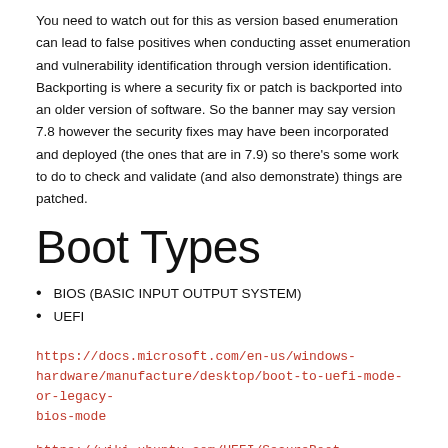You need to watch out for this as version based enumeration can lead to false positives when conducting asset enumeration and vulnerability identification through version identification. Backporting is where a security fix or patch is backported into an older version of software. So the banner may say version 7.8 however the security fixes may have been incorporated and deployed (the ones that are in 7.9) so there's some work to do to check and validate (and also demonstrate) things are patched.
Boot Types
BIOS (BASIC INPUT OUTPUT SYSTEM)
UEFI
https://docs.microsoft.com/en-us/windows-hardware/manufacture/desktop/boot-to-uefi-mode-or-legacy-bios-mode
https://wiki.ubuntu.com/UEFI/SecureBoot